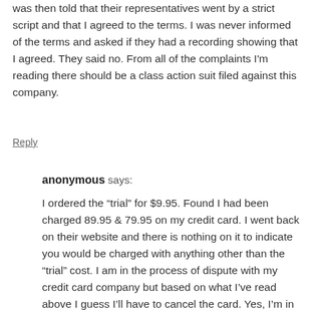was then told that their representatives went by a strict script and that I agreed to the terms. I was never informed of the terms and asked if they had a recording showing that I agreed. They said no. From all of the complaints I'm reading there should be a class action suit filed against this company.
Reply
anonymous says:
I ordered the “trial” for $9.95. Found I had been charged 89.95 & 79.95 on my credit card. I went back on their website and there is nothing on it to indicate you would be charged with anything other than the “trial” cost. I am in the process of dispute with my credit card company but based on what I've read above I guess I'll have to cancel the card. Yes, I'm in